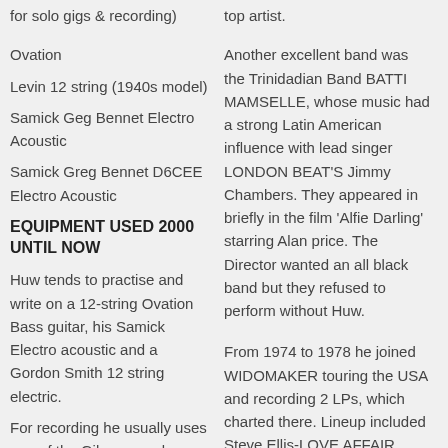for solo gigs & recording)
top artist.
Ovation
Another excellent band was the Trinidadian Band BATTI MAMSELLE, whose music had a strong Latin American influence with lead singer LONDON BEAT'S Jimmy Chambers. They appeared in briefly in the film 'Alfie Darling' starring Alan price. The Director wanted an all black band but they refused to perform without Huw.
Levin 12 string (1940s model)
Samick Geg Bennet Electro Acoustic
Samick Greg Bennet D6CEE Electro Acoustic
EQUIPMENT USED 2000 UNTIL NOW
Huw tends to practise and write on a 12-string Ovation Bass guitar, his Samick Electro acoustic and a Gordon Smith 12 string electric.
From 1974 to 1978 he joined WIDOMAKER touring the USA and recording 2 LPs, which charted there. Lineup included Steve Ellis-LOVE AFFAIR, Aerial Bender-MOTT THE HOOPLE, Bob Daisley-
For recording he usually uses one of the Gibsons and one of